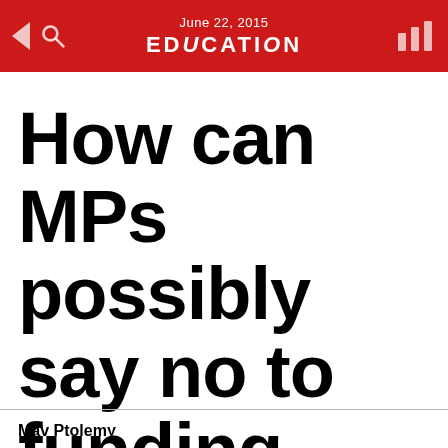June 22, 2015 EDUCATION
How can MPs possibly say no to funding Gonski?
Mav Ptolemy